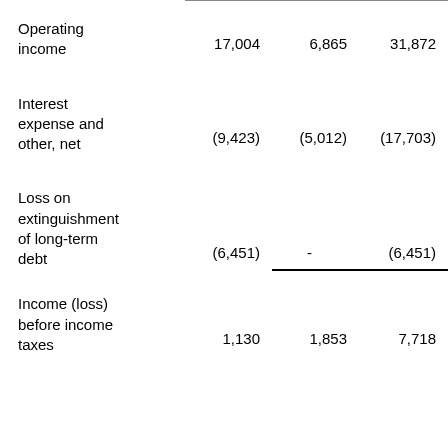|  | Col1 | Col2 | Col3 |
| --- | --- | --- | --- |
| Operating income | 17,004 | 6,865 | 31,872 |
| Interest expense and other, net | (9,423) | (5,012) | (17,703) |
| Loss on extinguishment of long-term debt | (6,451) | - | (6,451) |
| Income (loss) before income taxes | 1,130 | 1,853 | 7,718 |